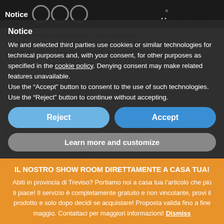Notice
We and selected third parties use cookies or similar technologies for technical purposes and, with your consent, for other purposes as specified in the cookie policy. Denying consent may make related features unavailable.
Use the “Accept” button to consent to the use of such technologies. Use the “Reject” button to continue without accepting.
Reject
Accept
Learn more and customize
IL NOSTRO SHOW ROOM DIRETTAMENTE A CASA TUA!
Abiti in provincia di Treviso? Portiamo noi a casa tua l’articolo che più ti piace! Il servizio è completamente gratuito e non vincolante, provi il prodotto e solo dopo decidi se acquistare! Proposta valida fino a fine maggio. Contattaci per maggiori informazioni! Dismiss